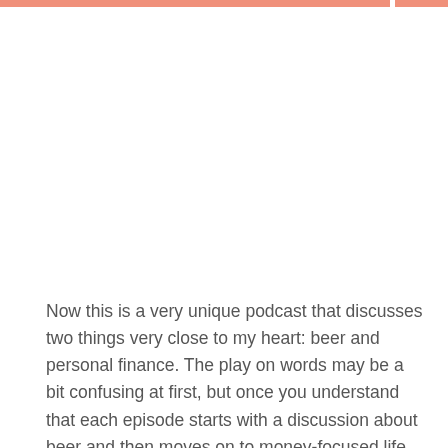Now this is a very unique podcast that discusses two things very close to my heart: beer and personal finance. The play on words may be a bit confusing at first, but once you understand that each episode starts with a discussion about beer and then moves on to money-focused life hacks, it starts to make sense. Even if you aren't into beer, I'd still highly